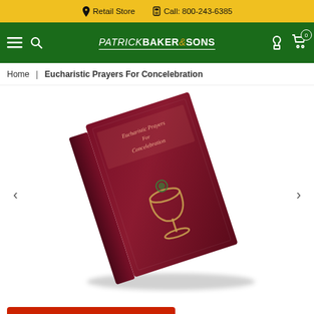Retail Store   Call: 800-243-6385
[Figure (logo): Patrick Baker & Sons retailer logo in white text on green background navigation bar]
Home | Eucharistic Prayers For Concelebration
[Figure (photo): A dark maroon/burgundy hardcover book titled Eucharistic Prayers For Concelebration, shown at an angle with a gold chalice emblem on the cover, blurred artistic product photo]